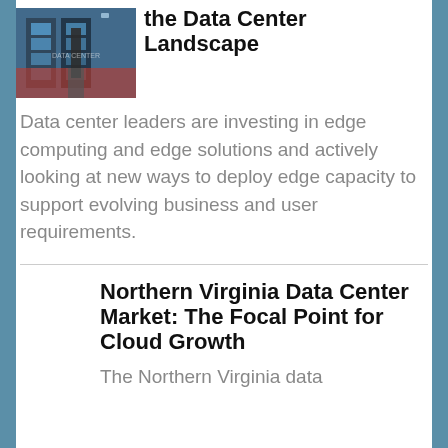[Figure (photo): Thumbnail image showing a data center hallway with server racks and a person walking on a red carpet]
the Data Center Landscape
Data center leaders are investing in edge computing and edge solutions and actively looking at new ways to deploy edge capacity to support evolving business and user requirements.
Northern Virginia Data Center Market: The Focal Point for Cloud Growth
The Northern Virginia data